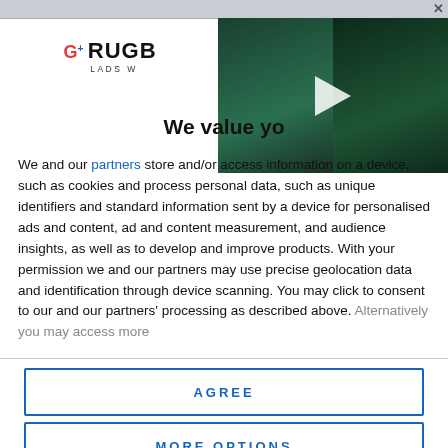[Figure (screenshot): Rugby website video thumbnail showing two Irish rugby players in green jerseys, with a play button overlay. Split into two panels side by side.]
[Figure (logo): Rugby Lads World logo with G+ icon]
We value yo...
We and our partners store and/or ac... such as cookies and process personal data, such as unique identifiers and standard information sent by a device for personalised ads and content, ad and content measurement, and audience insights, as well as to develop and improve products. With your permission we and our partners may use precise geolocation data and identification through device scanning. You may click to consent to our and our partners' processing as described above. Alternatively you may access more
AGREE
MORE OPTIONS